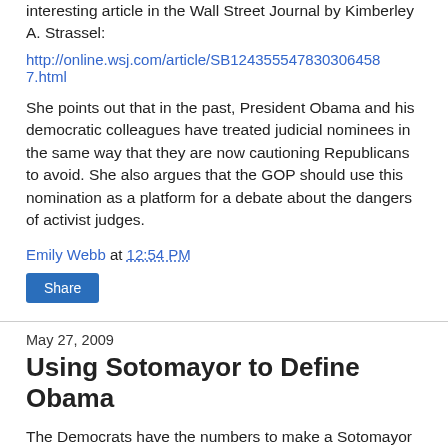interesting article in the Wall Street Journal by Kimberley A. Strassel:
http://online.wsj.com/article/SB124355547830306458 7.html
She points out that in the past, President Obama and his democratic colleagues have treated judicial nominees in the same way that they are now cautioning Republicans to avoid. She also argues that the GOP should use this nomination as a platform for a debate about the dangers of activist judges.
Emily Webb at 12:54 PM
Share
May 27, 2009
Using Sotomayor to Define Obama
The Democrats have the numbers to make a Sotomayor confirmation all but inevitable, but Ed Morrissey picks up on another opportunity that her nomination affords the GOP.